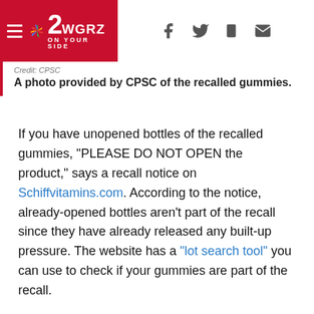2WGRZ ON YOUR SIDE
Credit: CPSC
A photo provided by CPSC of the recalled gummies.
If you have unopened bottles of the recalled gummies, "PLEASE DO NOT OPEN the product," says a recall notice on Schiffvitamins.com. According to the notice, already-opened bottles aren't part of the recall since they have already released any built-up pressure. The website has a "lot search tool" you can use to check if your gummies are part of the recall.
Related Articles
Fitbit recalls Ionic smartwatches after more than 100 reports of burn injuries
Family Dollar temporarily closes 400 stores after